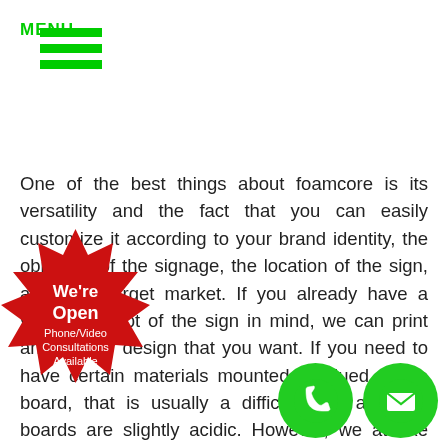MENU
One of the best things about foamcore is its versatility and the fact that you can easily customize it according to your brand identity, the objective of the signage, the location of the sign, and your target market. If you already have a visual concept of the sign in mind, we can print any logo or design that you want. If you need to have certain materials mounted or glued to the board, that is usually a difficult task as foam boards are slightly acidic. However, we at Axe Signs & Wayfinding are equipped with the tools and experience to carry out the task while avoiding or minimizing the chance of chemical decomposition.
Our foam boards come in a wide range of thicknesses and sizes to accommodate whatever specifications your order requires. They can also easily be cut and trimmed to whatever size you require. When it comes to finishing options, Axe Signs & Wayfinding can give you for more
[Figure (illustration): Red starburst badge with text: We're Open Phone/Video Consultations Available]
[Figure (illustration): Green phone button (circle with phone icon)]
[Figure (illustration): Green email button (circle with envelope icon)]